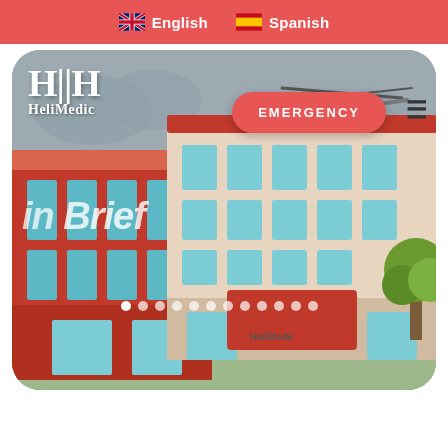🇬🇧 English  🇪🇸 Spanish
[Figure (screenshot): HeliMedic hospital website screenshot showing a cartoon illustration of a hospital building with a helicopter on the roof. The hero section contains the HeliMedic logo in the top left, an EMERGENCY button in red, a hamburger menu icon, the text 'in Brief' overlaid on the illustration, and slider navigation dots. The background shows a stylized cartoon hospital building in red and grey tones with greenery.]